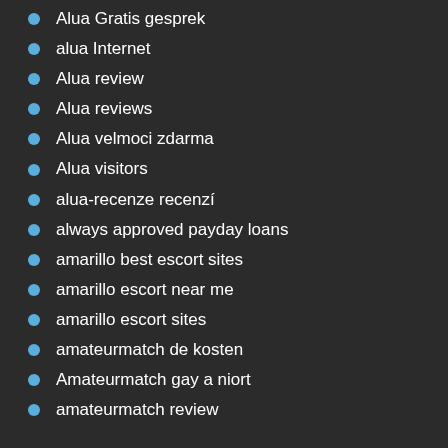Alua Gratis gesprek
alua Internet
Alua review
Alua reviews
Alua velmoci zdarma
Alua visitors
alua-recenze recenzí
always approved payday loans
amarillo best escort sites
amarillo escort near me
amarillo escort sites
amateurmatch de kosten
Amateurmatch gay a niort
amateurmatch review